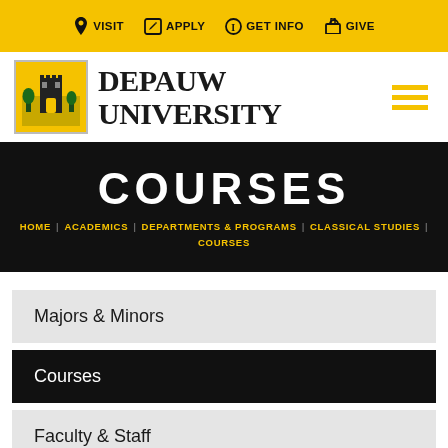VISIT | APPLY | GET INFO | GIVE
[Figure (logo): DePauw University logo with castle illustration on yellow background and bold serif text]
COURSES
HOME | ACADEMICS | DEPARTMENTS & PROGRAMS | CLASSICAL STUDIES | COURSES
Majors & Minors
Courses
Faculty & Staff